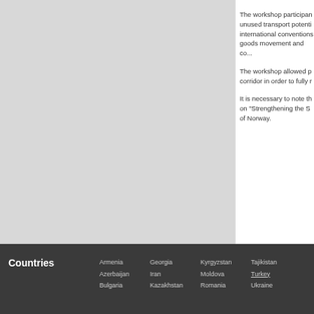The workshop participants identified unused transport potential and international conventions to facilitate goods movement and co...
The workshop allowed p... corridor in order to fully r...
It is necessary to note th... on "Strengthening the S... of Norway.
Count...
Mo...
Publishe...
Countries  Armenia  Georgia  Kyrgyzstan  Tajikistan  Azerbaijan  Iran  Moldova  Turkey  Bulgaria  Kazakhstan  Romania  Ukraine